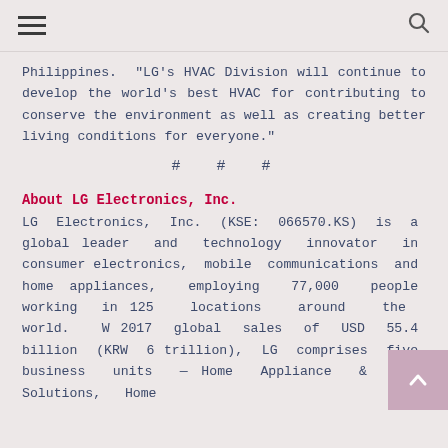☰ [navigation menu] | [search icon]
Philippines. "LG's HVAC Division will continue to develop the world's best HVAC for contributing to conserve the environment as well as creating better living conditions for everyone."
# # #
About LG Electronics, Inc.
LG Electronics, Inc. (KSE: 066570.KS) is a global leader and technology innovator in consumer electronics, mobile communications and home appliances, employing 77,000 people working in 125 locations around the world. W 2017 global sales of USD 55.4 billion (KRW 6 trillion), LG comprises five business units — Home Appliance & Air Solutions, Home